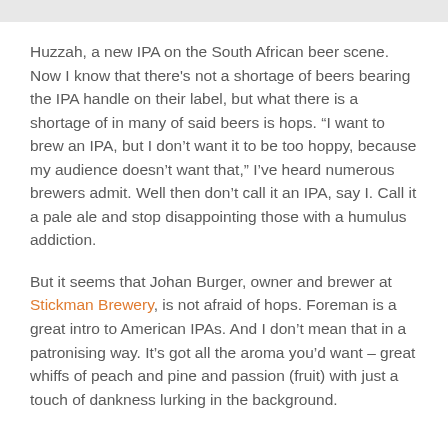Huzzah, a new IPA on the South African beer scene. Now I know that there's not a shortage of beers bearing the IPA handle on their label, but what there is a shortage of in many of said beers is hops. “I want to brew an IPA, but I don’t want it to be too hoppy, because my audience doesn’t want that,” I’ve heard numerous brewers admit. Well then don’t call it an IPA, say I. Call it a pale ale and stop disappointing those with a humulus addiction.
But it seems that Johan Burger, owner and brewer at Stickman Brewery, is not afraid of hops. Foreman is a great intro to American IPAs. And I don’t mean that in a patronising way. It’s got all the aroma you’d want – great whiffs of peach and pine and passion (fruit) with just a touch of dankness lurking in the background.